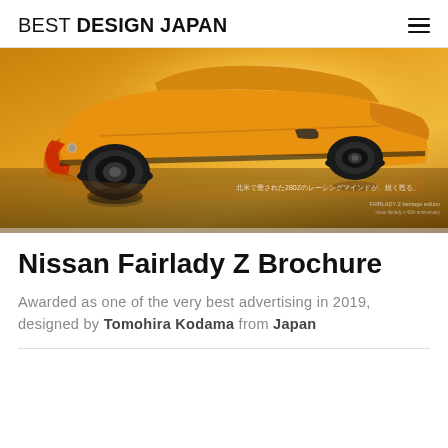BEST DESIGN JAPAN
[Figure (photo): Yellow Nissan Fairlady Z sports car shot from rear three-quarter angle against golden background, with Japanese text overlay. Brochure advertisement image.]
Nissan Fairlady Z Brochure
Awarded as one of the very best advertising in 2019, designed by Tomohira Kodama from Japan